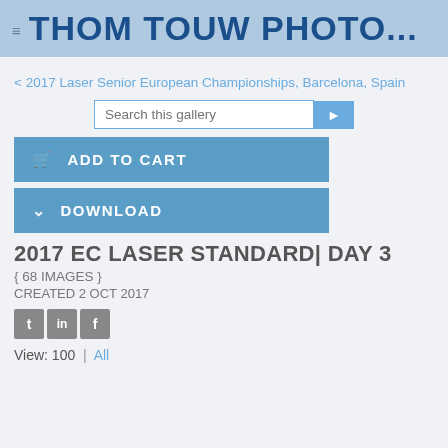THOM TOUW PHOTO...
< 2017 Laser Senior European Championships, Barcelona, Spain
Search this gallery
ADD TO CART
DOWNLOAD
2017 EC LASER STANDARD| DAY 3
{ 68 IMAGES }
CREATED 2 OCT 2017
[Figure (other): Social media share icons: Twitter (t), LinkedIn (in), Facebook (f)]
View: 100 | All